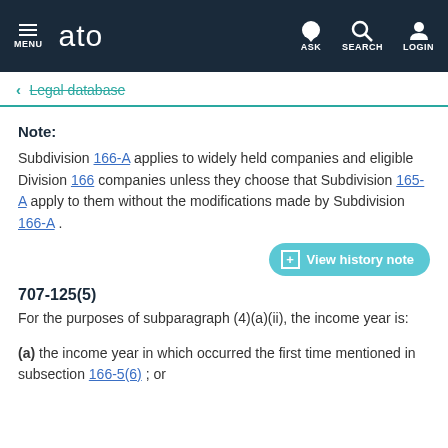ato — MENU | ASK | SEARCH | LOGIN
← Legal database
Note:
Subdivision 166-A applies to widely held companies and eligible Division 166 companies unless they choose that Subdivision 165-A apply to them without the modifications made by Subdivision 166-A .
➕ View history note
707-125(5)
For the purposes of subparagraph (4)(a)(ii), the income year is:
(a) the income year in which occurred the first time mentioned in subsection 166-5(6) ; or